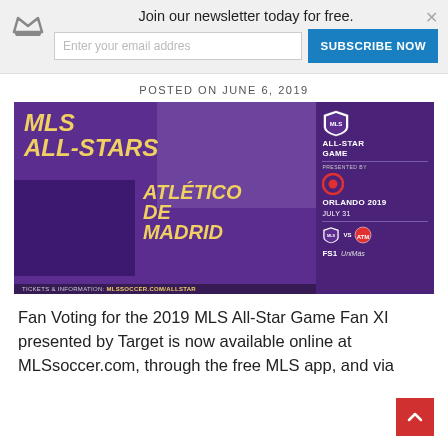Join our newsletter today for free. Enter your email address SUBSCRIBE NOW
POSTED ON JUNE 6, 2019
[Figure (infographic): MLS All-Stars vs Atlético de Madrid promotional banner. Purple and gold design. MLS All-Star Game presented by Target. Orlando 2019, July 31. FS1, UniMás. TICKETS & INFORMATION: MLSSOCCER.COM/ALLSTAR]
Fan Voting for the 2019 MLS All-Star Game Fan XI presented by Target is now available online at MLSsoccer.com, through the free MLS app, and via